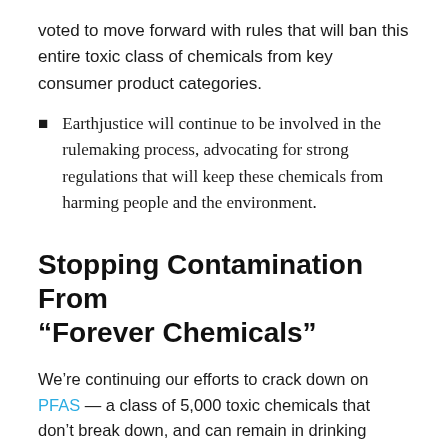voted to move forward with rules that will ban this entire toxic class of chemicals from key consumer product categories.
Earthjustice will continue to be involved in the rulemaking process, advocating for strong regulations that will keep these chemicals from harming people and the environment.
Stopping Contamination From “Forever Chemicals”
We’re continuing our efforts to crack down on PFAS — a class of 5,000 toxic chemicals that don’t break down, and can remain in drinking water and our bodies for decades.
More than 200 million people across the country are likely exposed to food and drinking water contaminated with PFAS, which have been linked to serious medical